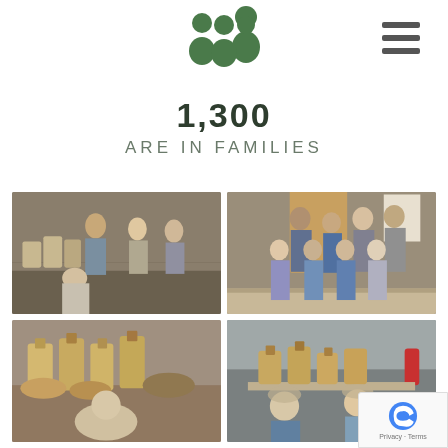Logo and navigation header
1,300
ARE IN FAMILIES
[Figure (photo): Kitchen workers preparing food bags in a commercial kitchen]
[Figure (photo): Group photo of volunteers standing in a kitchen]
[Figure (photo): Close-up of paper bags with food items and a person working]
[Figure (photo): Two workers in hairnets packaging food bags in a kitchen]